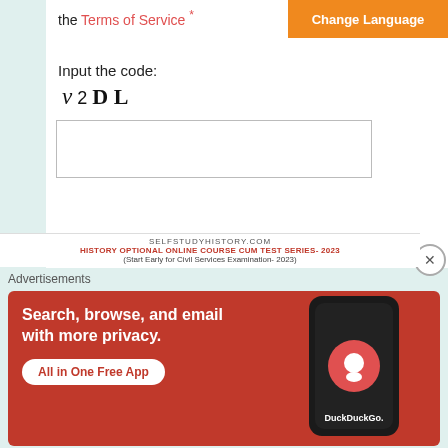the Terms of Service *
[Figure (screenshot): Orange 'Change Language' button in top right]
Input the code:
[Figure (other): CAPTCHA code displaying 'v 2 D L' in mixed italic/bold fonts]
[Figure (screenshot): Text input box for captcha entry]
[Figure (screenshot): Register button]
* Required field
SELFSTUDYHISTORY.COM
HISTORY OPTIONAL ONLINE COURSE CUM TEST SERIES- 2023
(Start Early for Civil Services Examination- 2023)
Advertisements
[Figure (screenshot): DuckDuckGo advertisement: 'Search, browse, and email with more privacy. All in One Free App' with phone mockup and DuckDuckGo logo]